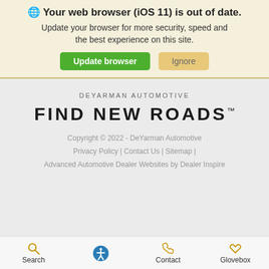🌐 Your web browser (iOS 11) is out of date. Update your browser for more security, speed and the best experience on this site.
Update browser | Ignore
DEYARMAN AUTOMOTIVE
FIND NEW ROADS™
Copyright © 2022 - DeYarman Automotive
Privacy Policy | Contact Us | Sitemap |
Advanced Automotive Dealer Websites by Dealer Inspire
Search  Contact  Glovebox